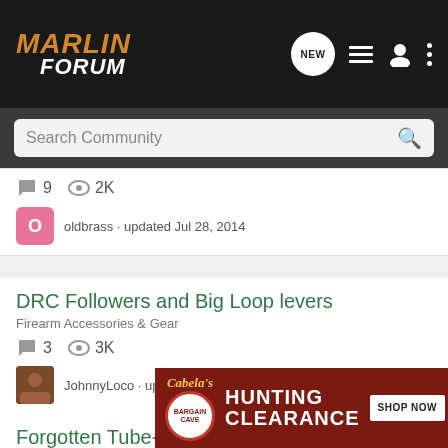MARLIN FORUM
Search Community
9 replies · 2K views · oldbrass · updated Jul 28, 2014
DRC Followers and Big Loop levers
Firearm Accessories & Gear
3 replies · 3K views · JohnnyLoco · updated Jul 6, 2012
Forgotten Tube-fed bolt rimfires: The Marlin 781 and 783
Blog Fo
[Figure (screenshot): Cabela's Bargain Cave Hunting Clearance advertisement banner with Shop Now button]